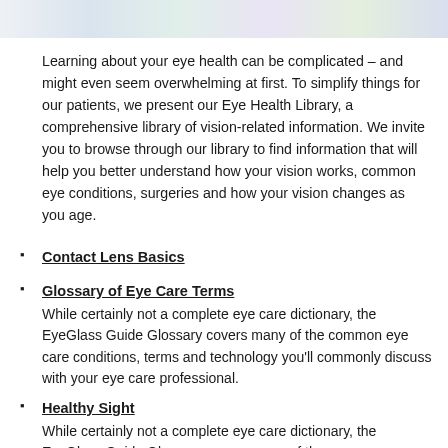[Figure (illustration): Decorative watercolor floral image strip at the top of the page]
Learning about your eye health can be complicated – and might even seem overwhelming at first. To simplify things for our patients, we present our Eye Health Library, a comprehensive library of vision-related information. We invite you to browse through our library to find information that will help you better understand how your vision works, common eye conditions, surgeries and how your vision changes as you age.
Contact Lens Basics
Glossary of Eye Care Terms
While certainly not a complete eye care dictionary, the EyeGlass Guide Glossary covers many of the common eye care conditions, terms and technology you'll commonly discuss with your eye care professional.
Healthy Sight
While certainly not a complete eye care dictionary, the EyeGlass Guide Glossary covers many of the common eye care conditions, terms and technology you'll commonly